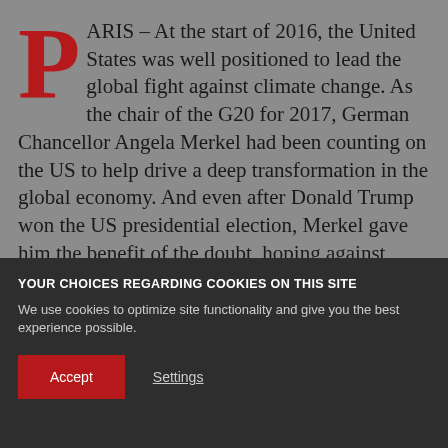PARIS – At the start of 2016, the United States was well positioned to lead the global fight against climate change. As the chair of the G20 for 2017, German Chancellor Angela Merkel had been counting on the US to help drive a deep transformation in the global economy. And even after Donald Trump won the US presidential election, Merkel gave him the benefit of the doubt, hoping against hope that the US might still
YOUR CHOICES REGARDING COOKIES ON THIS SITE
We use cookies to optimize site functionality and give you the best experience possible.